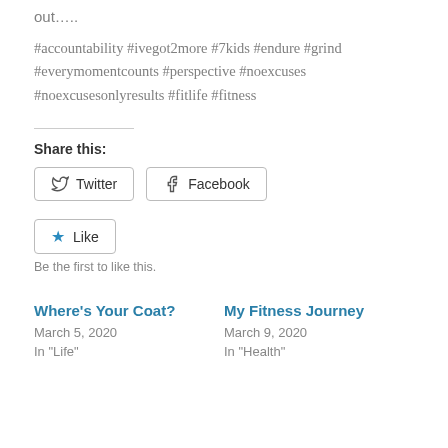out…..
#accountability #ivegot2more #7kids #endure #grind #everymomentcounts #perspective #noexcuses #noexcusesonlyresults #fitlife #fitness
Share this:
Twitter   Facebook
Like   Be the first to like this.
Where's Your Coat?
March 5, 2020
In "Life"
My Fitness Journey
March 9, 2020
In "Health"